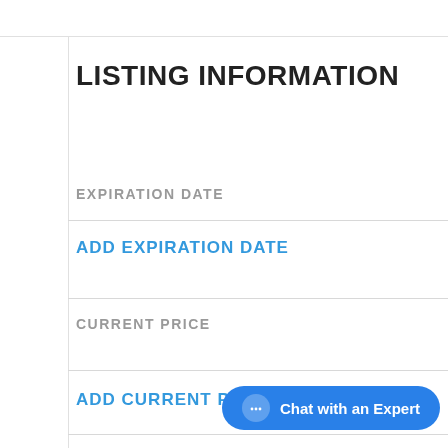LISTING INFORMATION
EXPIRATION DATE
ADD EXPIRATION DATE
CURRENT PRICE
ADD CURRENT PRICE
[Figure (screenshot): Chat with an Expert button (blue pill-shaped button with chat bubble icon)]